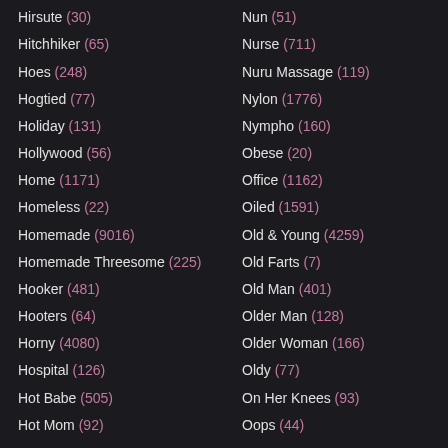Hirsute (30)
Hitchhiker (65)
Hoes (248)
Hogtied (77)
Holiday (131)
Hollywood (56)
Home (1171)
Homeless (22)
Homemade (9016)
Homemade Threesome (225)
Hooker (481)
Hooters (64)
Horny (4080)
Hospital (126)
Hot Babe (505)
Hot Mom (92)
Nun (51)
Nurse (711)
Nuru Massage (119)
Nylon (1776)
Nympho (160)
Obese (20)
Office (1162)
Oiled (1591)
Old & Young (4259)
Old Farts (7)
Old Man (401)
Older Man (128)
Older Woman (166)
Oldy (77)
On Her Knees (93)
Oops (44)